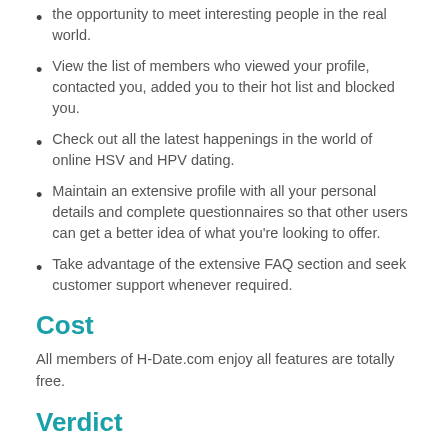the opportunity to meet interesting people in the real world.
View the list of members who viewed your profile, contacted you, added you to their hot list and blocked you.
Check out all the latest happenings in the world of online HSV and HPV dating.
Maintain an extensive profile with all your personal details and complete questionnaires so that other users can get a better idea of what you're looking to offer.
Take advantage of the extensive FAQ section and seek customer support whenever required.
Cost
All members of H-Date.com enjoy all features are totally free.
Verdict
H-Date.com is a high quality herpes dating site for people with herpes, HPV, and other STDs. It has a decent membership base and boasts of almost all the features that you'd expect on a leading dating site, and it provides herpes support, herpes